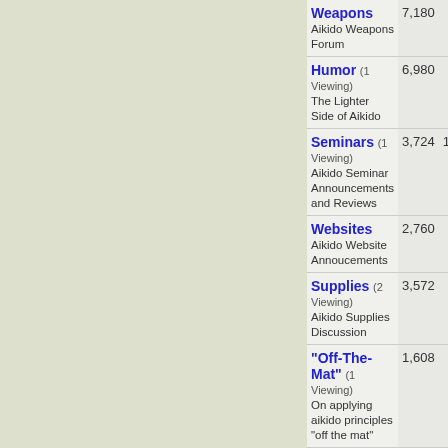| Forum | Posts | Threads | Last Post |
| --- | --- | --- | --- |
| Weapons (Aikido Weapons Forum) | 7,180 | 467 | Selling katana by Robert Cowh... |
| Humor (1 Viewing) The Lighter Side of Aikido | 6,980 | 385 | You might be a... by jamesf |
| Seminars (1 Viewing) Aikido Seminar Announcements and Reviews | 3,724 | 1,523 | July 9, 2022: Zo... by AikiWeb Syst... |
| Websites Aikido Website Annoucements | 2,760 | 396 | Your Dojo's We... by mjhacker |
| Supplies (2 Viewing) Aikido Supplies Discussion | 3,572 | 388 | Return of the h... by Janet Rosen... |
| "Off-The-Mat" (1 Viewing) On applying aikido principles "off the mat" | 1,608 | 78 | Kindle Vella bo... by Mary Eastlan... |
| Voices of Experience (2 Viewing) For People with 20+ Years Experience | 389 | 74 | A question for t... by Rupert Atkins... |
| External Aikido Blog Posts (2 Viewing) Posts from Non... | 2,369 | 457 | Ellis Amdur on... by Ellis Amdur... |